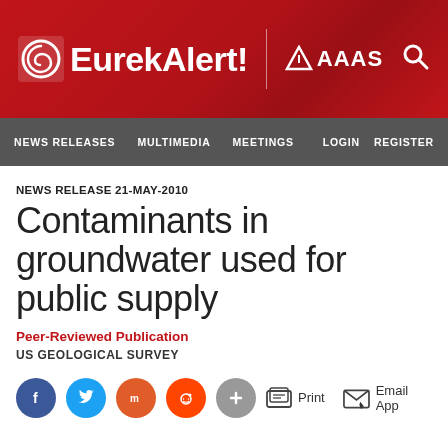[Figure (logo): EurekAlert! AAAS logo on red banner with search icon]
NEWS RELEASES   MULTIMEDIA   MEETINGS   LOGIN   REGISTER
NEWS RELEASE 21-MAY-2010
Contaminants in groundwater used for public supply
Peer-Reviewed Publication
US GEOLOGICAL SURVEY
[Figure (infographic): Social share buttons (Facebook, Twitter, Mix, Reddit, Plus) and action links (Print, Email App)]